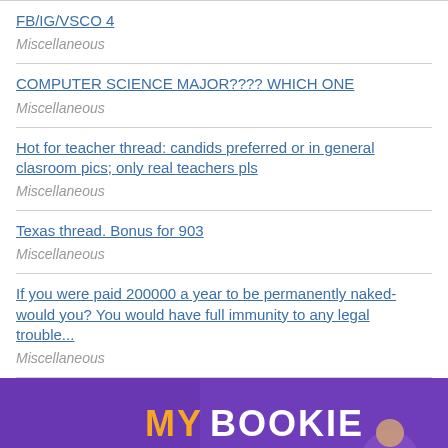FB/IG/VSCO 4
Miscellaneous
COMPUTER SCIENCE MAJOR???? WHICH ONE
Miscellaneous
Hot for teacher thread: candids preferred or in general clasroom pics; only real teachers pls
Miscellaneous
Texas thread. Bonus for 903
Miscellaneous
If you were paid 200000 a year to be permanently naked- would you? You would have full immunity to any legal trouble...
Miscellaneous
[Figure (photo): MY BOOKIE advertisement banner with purple background and partial figure of a person]